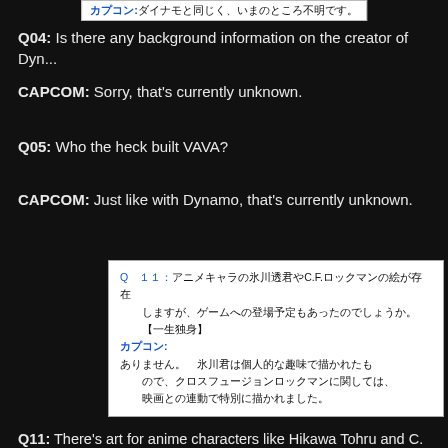[Figure (screenshot): Japanese text box showing Capcom Q&A response: カプコン:ダイナモと同じく、いまのところ不明です。]
Q04: Is there any background information on the creator of Dyn...
CAPCOM: Sorry, that's currently unknown.
Q05: Who the heck built VAVA?
CAPCOM: Just like with Dynamo, that's currently unknown.
[Figure (screenshot): Japanese text Q&A box: Q11 asking about anime characters Hikawa Tohru and C.F. Rockman art appearing in games. Capcom answer: ありません。氷川君は個人的な趣味で描かれたもので、クロスフュージョンロックマンに関しては、映画との連動で特別に描かれました。]
Q11: There's art for anime characters like Hikawa Tohru and C. so were there ever plans for them to appear in any of the games
CAPCOM: Nope. Hikawa-kun's artwork was drawn for just for... and the Cross Fusion Rockman art was made especially for the m...
That's all for today. Don't worry, this Q&A stuff will get much juic...
Posted in anime, capcom, exe, R30 f5, rockman, ema, def...